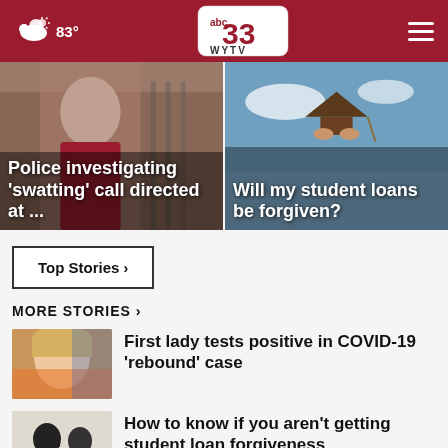83° abc 33 WYTV
[Figure (photo): News hero image: person in red clothing, police scene. Overlay text: Police investigating 'swatting' call directed at ...]
[Figure (photo): News hero image: graduation caps against sky. Overlay text: Will my student loans be forgiven?]
Top Stories ›
MORE STORIES ›
[Figure (photo): Thumbnail of first lady Jill Biden]
First lady tests positive in COVID-19 'rebound' case
[Figure (photo): Thumbnail of graduation silhouette]
How to know if you aren't getting student loan forgiveness